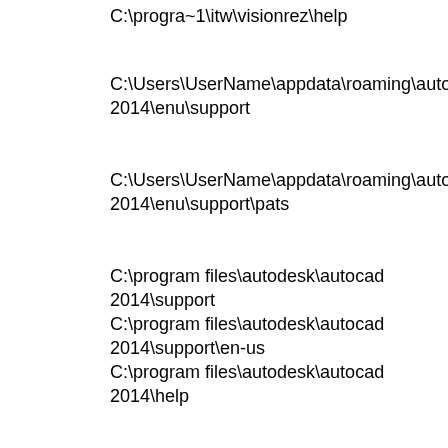C:\progra~1\itw\visionrez\help
C:\Users\UserName\appdata\roaming\autodesk\aca 2014\enu\support
C:\Users\UserName\appdata\roaming\autodesk\aca 2014\enu\support\pats
C:\program files\autodesk\autocad 2014\support
C:\program files\autodesk\autocad 2014\support\en-us
C:\program files\autodesk\autocad 2014\help
C:\program files\autodesk\autocad 2014\express
C:\program files\autodesk\autocad 2014\support\color
C:\program files\autodesk\autocad 2014\aca
C:\programdata\autodesk\aca 2014\enu\layers\